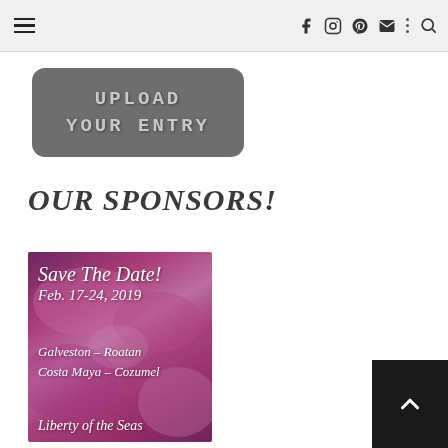Navigation header with hamburger menu and social icons (Facebook, Instagram, Pinterest, Email, Search)
[Figure (illustration): Dark gray rounded rectangle button with text 'UPLOAD YOUR ENTRY' in white/light gray distressed serif uppercase lettering]
OUR SPONSORS!
[Figure (photo): Sponsor image with pink tropical flowers background. Script text overlay reads: 'Save the Date! Feb. 17-24, 2019 Galveston - Roatan Costa Maya - Cozumel Liberty of the Seas']